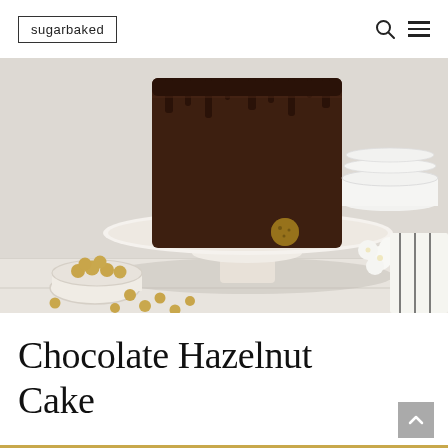sugarbaked
[Figure (photo): A tall chocolate layer cake covered in dark chocolate ganache with drips, displayed on a white ceramic cake stand. A hazelnut truffle sits on the edge of the stand. A small white bowl of hazelnuts is in the foreground left with scattered hazelnuts. White flowers and a striped cloth are to the right. Marble surface background.]
Chocolate Hazelnut Cake